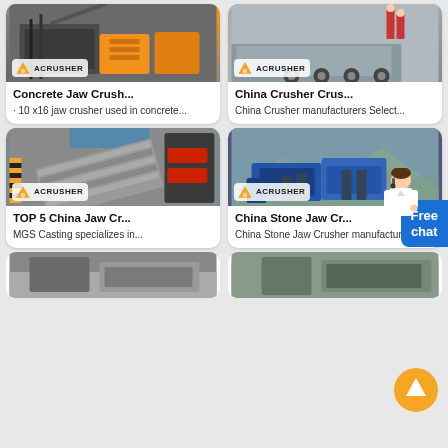[Figure (photo): Concrete jaw crusher machinery in industrial warehouse with yellow equipment, Acrusher logo badge]
Concrete Jaw Crush...
· 10 x16 jaw crusher used in concrete...
[Figure (photo): China Crusher on flatbed truck trailer in yard, Acrusher logo badge]
China Crusher Crus...
China Crusher manufacturers Select...
[Figure (photo): TOP 5 China Jaw Crusher with ribbed steel plates and large machinery, Acrusher logo badge]
TOP 5 China Jaw Cr...
MGS Casting specializes in...
[Figure (photo): China Stone Jaw Crusher industrial blue machinery in mountainous outdoor setting, Acrusher logo badge]
China Stone Jaw Cr...
China Stone Jaw Crusher manufacturer...
[Figure (photo): Bottom row left crusher machinery interior photo]
[Figure (photo): Bottom row right crusher machinery interior photo]